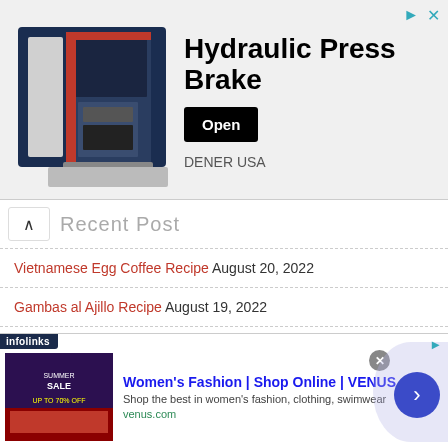[Figure (screenshot): Ad banner for Hydraulic Press Brake by DENER USA with machine image and Open button]
Recent Post
Vietnamese Egg Coffee Recipe August 20, 2022
Gambas al Ajillo Recipe August 19, 2022
Jam, Preserves and Pickles Recipe Collections August 16, 2022
Petit Fours (Butter Cake in White Chocolate) August 15, 2022
...ake Tung Ting Shrimp August 10, 2022
[Figure (screenshot): Infolinks ad: Women's Fashion | Shop Online | VENUS - Shop the best in women's fashion, clothing, swimwear - venus.com]